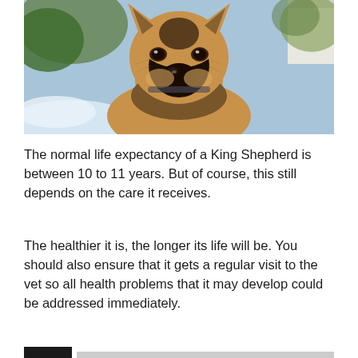[Figure (photo): Close-up photo of a German Shepherd / King Shepherd dog facing the camera with a blurred outdoor background]
The normal life expectancy of a King Shepherd is between 10 to 11 years. But of course, this still depends on the care it receives.
The healthier it is, the longer its life will be. You should also ensure that it gets a regular visit to the vet so all health problems that it may develop could be addressed immediately.